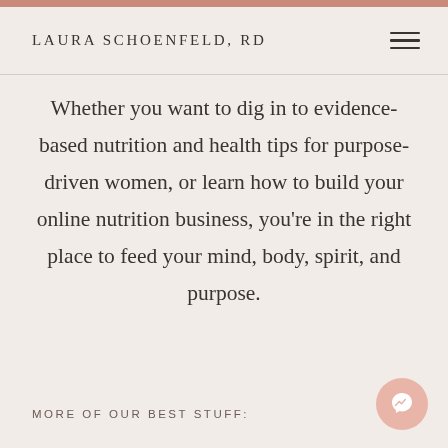LAURA SCHOENFELD, RD
Whether you want to dig in to evidence-based nutrition and health tips for purpose-driven women, or learn how to build your online nutrition business, you're in the right place to feed your mind, body, spirit, and purpose.
MORE OF OUR BEST STUFF: